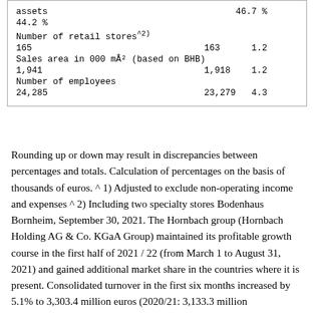|  |  |  |  |
| --- | --- | --- | --- |
| assets |  | 46.7 % |  |
| 44.2 % |  |  |  |
| Number of retail stores^2) |  |  |  |
| 165 | 163 | 1.2 |  |
| Sales area in 000 m² (based on BHB) |  |  |  |
| 1,941 | 1,918 | 1.2 |  |
| Number of employees |  |  |  |
| 24,285 | 23,279 | 4.3 |  |
Rounding up or down may result in discrepancies between percentages and totals. Calculation of percentages on the basis of thousands of euros. ^ 1) Adjusted to exclude non-operating income and expenses ^ 2) Including two specialty stores Bodenhaus Bornheim, September 30, 2021. The Hornbach group (Hornbach Holding AG & Co. KGaA Group) maintained its profitable growth course in the first half of 2021 / 22 (from March 1 to August 31, 2021) and gained additional market share in the countries where it is present. Consolidated turnover in the first six months increased by 5.1% to 3,303.4 million euros (2020/21: 3,133.3 million...